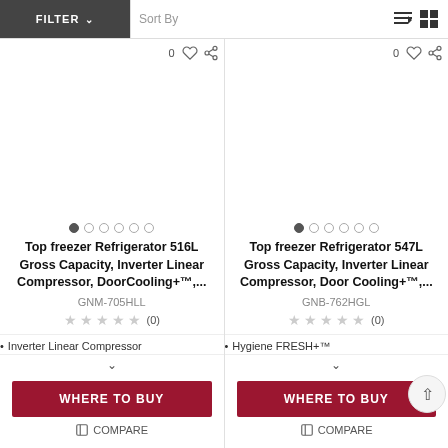FILTER | Sort By
[Figure (screenshot): Product card for Top freezer Refrigerator 516L - left card with image placeholder, dots, title, model, stars, feature, where to buy]
0
Top freezer Refrigerator 516L Gross Capacity, Inverter Linear Compressor, DoorCooling+™,...
GNM-705HLL
(0)
Inverter Linear Compressor
WHERE TO BUY
COMPARE
[Figure (screenshot): Product card for Top freezer Refrigerator 547L - right card with image placeholder, dots, title, model, stars, feature, where to buy]
0
Top freezer Refrigerator 547L Gross Capacity, Inverter Linear Compressor, Door Cooling+™,...
GNB-762HGL
(0)
Hygiene FRESH+™
WHERE TO BUY
COMPARE